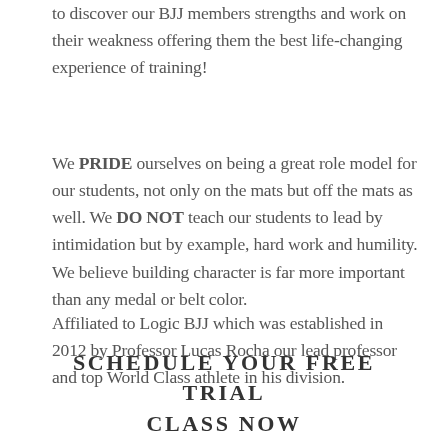to discover our BJJ members strengths and work on their weakness offering them the best life-changing experience of training!
We PRIDE ourselves on being a great role model for our students, not only on the mats but off the mats as well. We DO NOT teach our students to lead by intimidation but by example, hard work and humility. We believe building character is far more important than any medal or belt color.
Affiliated to Logic BJJ which was established in 2012 by Professor Lucas Rocha our lead professor and top World Class athlete in his division.
SCHEDULE YOUR FREE TRIAL CLASS NOW